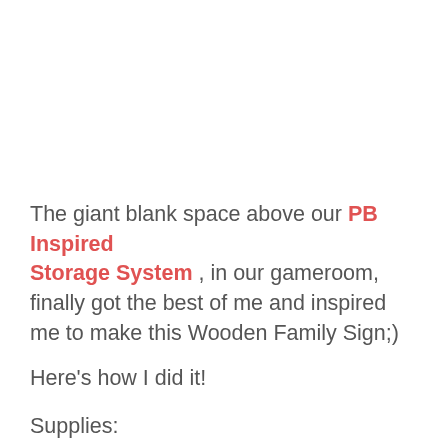The giant blank space above our PB Inspired Storage System , in our gameroom, finally got the best of me and inspired me to make this Wooden Family Sign;)
Here's how I did it!
Supplies:
[Figure (photo): Wooden boards on a concrete floor surface with dark metal keyhole hangers/brackets attached, and some labels visible. A circular scroll-to-top button is partially visible on the right edge.]